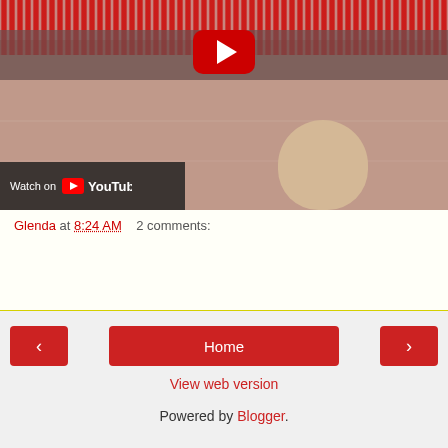[Figure (screenshot): YouTube video thumbnail showing a military parade/Changing of the Guard ceremony. Red-uniformed soldiers marching, spectators in background, baby's head visible in foreground bottom right. YouTube play button overlay in center. 'Watch on YouTube' overlay at bottom left.]
Glenda at 8:24 AM   2 comments:
Share
‹
Home
›
View web version
Powered by Blogger.